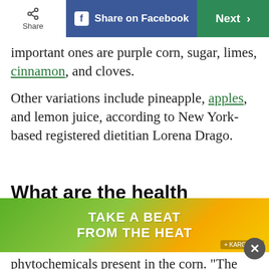Share | Share on Facebook | Next >
important ones are purple corn, sugar, limes, cinnamon, and cloves.
Other variations include pineapple, apples, and lemon juice, according to New York-based registered dietitian Lorena Drago.
What are the health benefits of chicha morada?
[Figure (infographic): Advertisement banner with green-to-yellow gradient background and text 'TAKE A BEAT FROM THE HEAT' with Kargo ad badge]
phytochemicals present in the corn. "The purple color is due to the anthocyanin